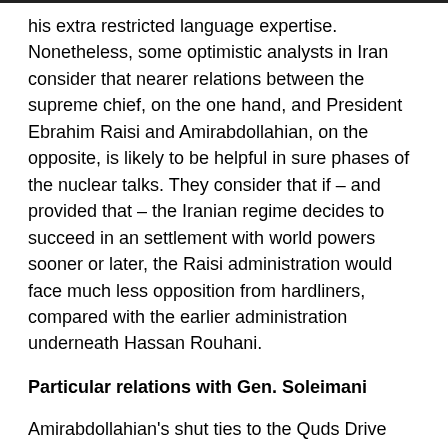his extra restricted language expertise. Nonetheless, some optimistic analysts in Iran consider that nearer relations between the supreme chief, on the one hand, and President Ebrahim Raisi and Amirabdollahian, on the opposite, is likely to be helpful in sure phases of the nuclear talks. They consider that if – and provided that – the Iranian regime decides to succeed in an settlement with world powers sooner or later, the Raisi administration would face much less opposition from hardliners, compared with the earlier administration underneath Hassan Rouhani.
Particular relations with Gen. Soleimani
Amirabdollahian's shut ties to the Quds Drive have repeatedly made information, particularly throughout his time as deputy international minister for Arab and African international locations in addition to when he was in command of Iraqi relations. This closeness was due